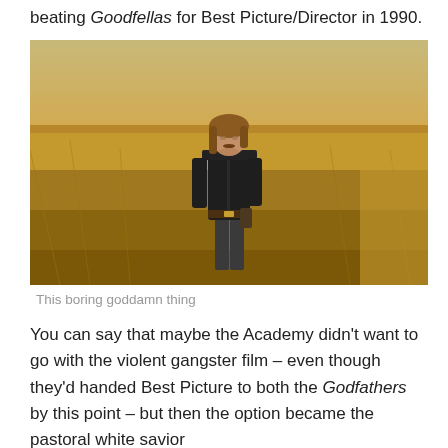beating Goodfellas for Best Picture/Director in 1990.
[Figure (photo): A man in a dark military uniform stands in a golden wheat field, looking into the distance. Scene from Dances with Wolves.]
This boring goddamn thing
You can say that maybe the Academy didn't want to go with the violent gangster film – even though they'd handed Best Picture to both the Godfathers by this point – but then the option became the pastoral white savior